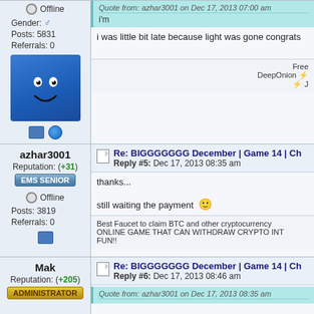Offline
Gender: [male icon]
Posts: 5831
Referrals: 0
[Figure (illustration): Blue square avatar with smiley face]
Quote from: azhar3001 on Dec 17, 2013 07:00 am
i'm
i was little bit late because light was gone congrats
Free
DeepOnion ⚡
⚡ J
azhar3001
Reputation: (+31)
EMS SENIOR
Offline
Posts: 3819
Referrals: 0
Re: BIGGGGGGG December | Game 14 | Ch
Reply #5: Dec 17, 2013 08:35 am
thanks...
still waiting the payment 🙂
Best Faucet to claim BTC and other cryptocurrency
ONLINE GAME THAT CAN WITHDRAW CRYPTO INT
FUN!!
Mak
Reputation: (+205)
ADMINISTRATOR
Re: BIGGGGGGG December | Game 14 | Ch
Reply #6: Dec 17, 2013 08:46 am
Quote from: azhar3001 on Dec 17, 2013 08:35 am